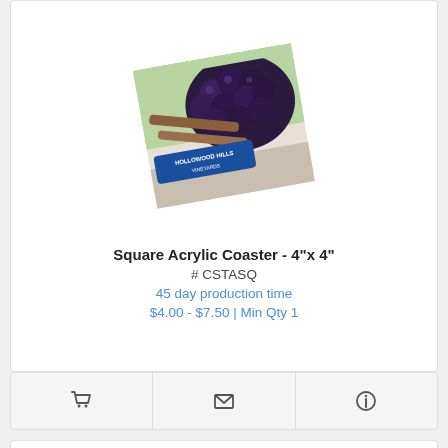[Figure (photo): Square acrylic coaster with printed image of dark grapes and a winery logo, shown at a slight angle]
Square Acrylic Coaster - 4"x 4"
# CSTASQ
45 day production time
$4.00 - $7.50 | Min Qty 1
[Figure (illustration): Shopping cart icon, envelope icon, and info icon in action bar]
[Figure (photo): Partial view of a second product card showing a round cork/natural coaster]